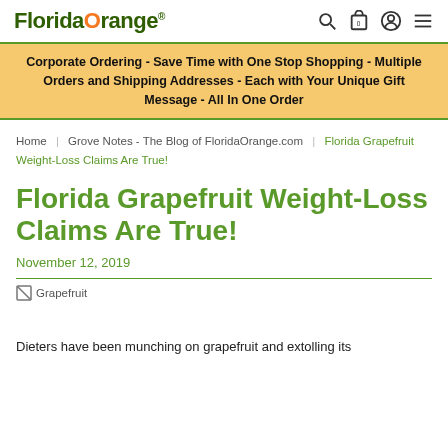FloridaOrange®
Corporate Ordering - Save Time with One Stop Shopping - Multiple Orders and Shipping Addresses - Each with Your Unique Gift Message - All In One Order
Home | Grove Notes - The Blog of FloridaOrange.com | Florida Grapefruit Weight-Loss Claims Are True!
Florida Grapefruit Weight-Loss Claims Are True!
November 12, 2019
[Figure (photo): Grapefruit image placeholder]
Dieters have been munching on grapefruit and extolling its